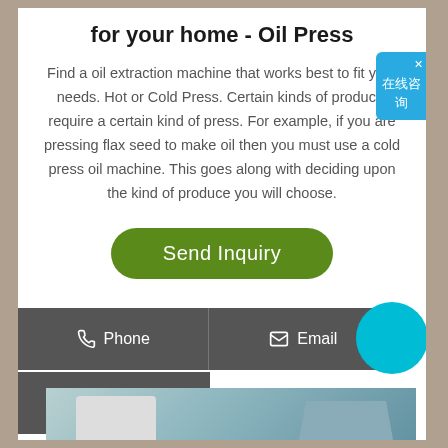for your home - Oil Press
Find a oil extraction machine that works best to fit your needs. Hot or Cold Press. Certain kinds of products require a certain kind of press. For example, if you are pressing flax seed to make oil then you must use a cold press oil machine. This goes along with deciding upon the kind of produce you will choose.
[Figure (other): Green 'Send Inquiry' button]
[Figure (other): Dark contact bar with Phone and Email buttons, blue circle element, WhatsApp button, and machine image at bottom]
[Figure (other): Chinese chat widget overlay on right side reading 在线咨询]